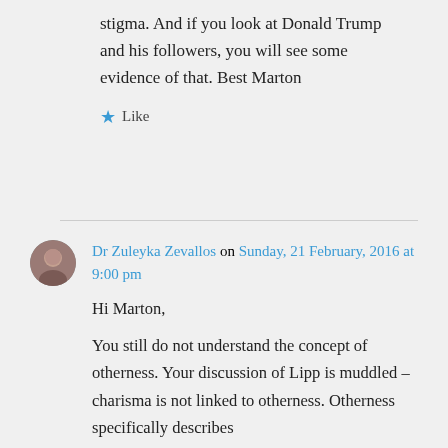stigma. And if you look at Donald Trump and his followers, you will see some evidence of that. Best Marton
Like
Dr Zuleyka Zevallos on Sunday, 21 February, 2016 at 9:00 pm
Hi Marton,
You still do not understand the concept of otherness. Your discussion of Lipp is muddled – charisma is not linked to otherness. Otherness specifically describes